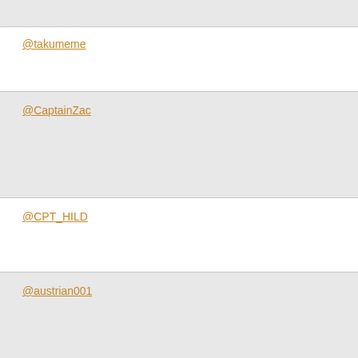@takumeme
@CaptainZac
@CPT_HILD
@austrian001
@llunter777